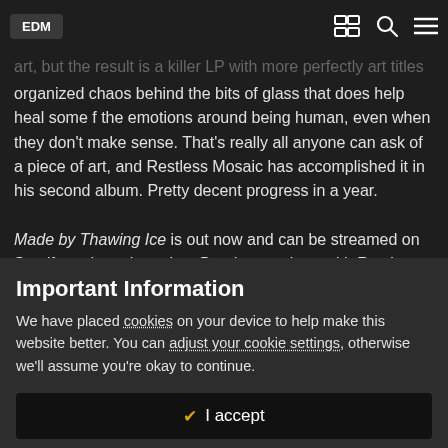EDM
art, but the result is a killer LP with more perfectly art titles organized chaos behind the bits of glass that does help heal some f the emotions around being human, even when they don't make sense. That's really all anyone can ask of a piece of art, and Restless Mosaic has accomplished it in his second album. Pretty decent progress in a year.
Made by Thawing Ice is out now and can be streamed on Spotify and purchased on Bandcamp along with Restless Mosaic's first album, the indomitable There's Much Left to Explore.
Important Information
We have placed cookies on your device to help make this website better. You can adjust your cookie settings, otherwise we'll assume you're okay to continue.
I accept